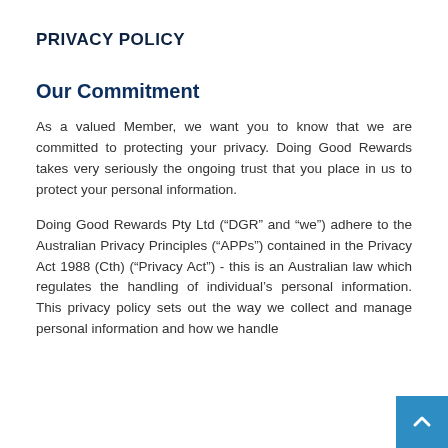PRIVACY POLICY
Our Commitment
As a valued Member, we want you to know that we are committed to protecting your privacy. Doing Good Rewards takes very seriously the ongoing trust that you place in us to protect your personal information.
Doing Good Rewards Pty Ltd (“DGR” and “we”) adhere to the Australian Privacy Principles (“APPs”) contained in the Privacy Act 1988 (Cth) (“Privacy Act”) - this is an Australian law which regulates the handling of individual’s personal information. This privacy policy sets out the way we collect and manage personal information and how we handle